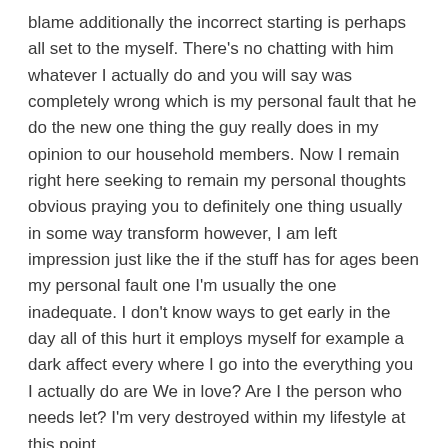blame additionally the incorrect starting is perhaps all set to the myself. There's no chatting with him whatever I actually do and you will say was completely wrong which is my personal fault that he do the new one thing the guy really does in my opinion to our household members. Now I remain right here seeking to remain my personal thoughts obvious praying you to definitely one thing usually in some way transform however, I am left impression just like the if the stuff has for ages been my personal fault one I'm usually the one inadequate. I don't know ways to get early in the day all of this hurt it employs myself for example a dark affect every where I go into the everything you I actually do are We in love? Are I the person who needs let? I'm very destroyed within my lifestyle at this point
..please…delight, precious you to…. Their post means that your ex lover enjoys a behavioural disorder. I am not saying an expert, however, I simply experienced a similar cures as there are much become read because of the meeting normally